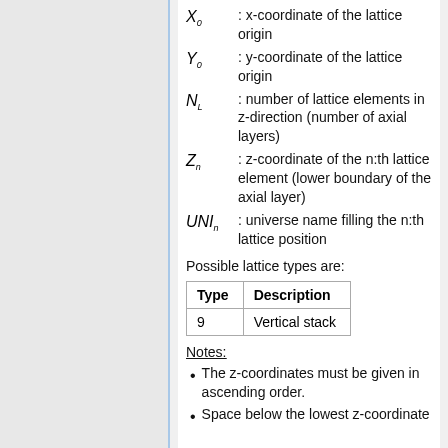X_0 : x-coordinate of the lattice origin
Y_0 : y-coordinate of the lattice origin
N_L : number of lattice elements in z-direction (number of axial layers)
Z_n : z-coordinate of the n:th lattice element (lower boundary of the axial layer)
UNI_n : universe name filling the n:th lattice position
Possible lattice types are:
| Type | Description |
| --- | --- |
| 9 | Vertical stack |
Notes:
The z-coordinates must be given in ascending order.
Space below the lowest z-coordinate